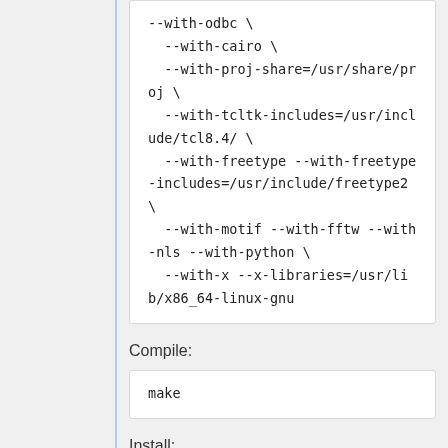--with-odbc \
  --with-cairo \
  --with-proj-share=/usr/share/proj \
  --with-tcltk-includes=/usr/include/tcl8.4/ \
  --with-freetype --with-freetype-includes=/usr/include/freetype2 \
  --with-motif --with-fftw --with-nls --with-python \
  --with-x --x-libraries=/usr/lib/x86_64-linux-gnu
Compile:
make
Install: